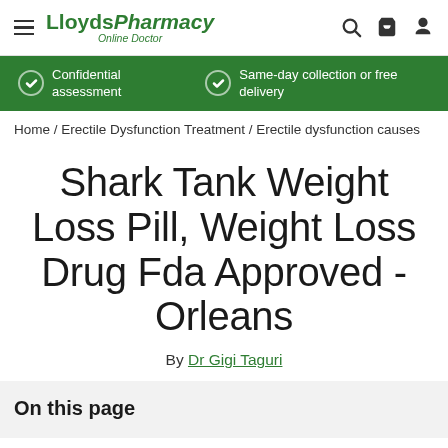LloydsPharmacy Online Doctor — Navigation header with hamburger menu, logo, search, cart, and user icons
Confidential assessment | Same-day collection or free delivery
Home / Erectile Dysfunction Treatment / Erectile dysfunction causes
Shark Tank Weight Loss Pill, Weight Loss Drug Fda Approved - Orleans
By Dr Gigi Taguri
On this page